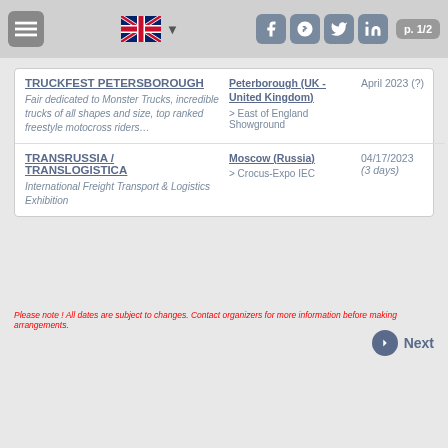p. 1/2
TRUCKFEST PETERSBOROUGH - Peterborough (UK - United Kingdom) - April 2023 (?) - Fair dedicated to Monster Trucks, incredible trucks of all shapes and size, top ranked freestyle motocross riders… - > East of England Showground
TRANSRUSSIA / TRANSLOGISTICA - Moscow (Russia) - 04/17/2023 (3 days) - International Freight Transport & Logistics Exhibition - > Crocus-Expo IEC
Please note ! All dates are subject to changes. Contact organizers for more information before making arrangements.
Next